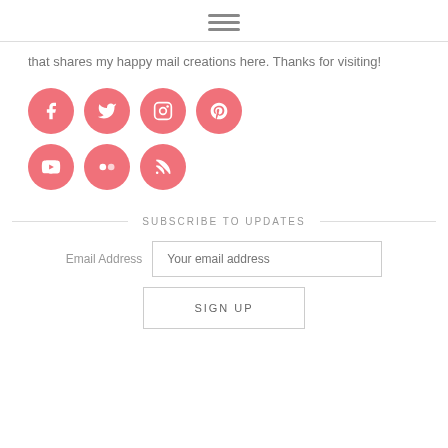[Figure (illustration): Hamburger menu icon (three horizontal lines)]
that shares my happy mail creations here. Thanks for visiting!
[Figure (illustration): Social media icon buttons: Facebook, Twitter, Instagram, Pinterest (row 1); YouTube, Flickr, RSS (row 2) — all pink circles with white icons]
SUBSCRIBE TO UPDATES
Email Address  Your email address
SIGN UP